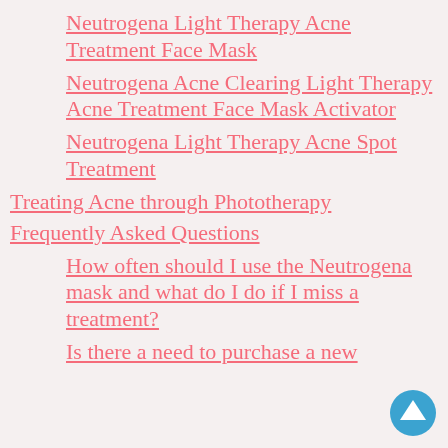Neutrogena Light Therapy Acne Treatment Face Mask
Neutrogena Acne Clearing Light Therapy Acne Treatment Face Mask Activator
Neutrogena Light Therapy Acne Spot Treatment
Treating Acne through Phototherapy
Frequently Asked Questions
How often should I use the Neutrogena mask and what do I do if I miss a treatment?
Is there a need to purchase a new